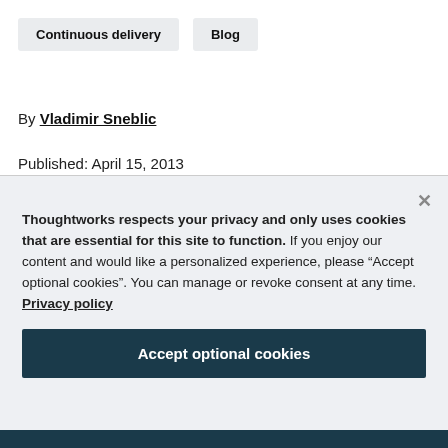Continuous delivery
Blog
By Vladimir Sneblic
Published: April 15, 2013
Thoughtworks respects your privacy and only uses cookies that are essential for this site to function. If you enjoy our content and would like a personalized experience, please “Accept optional cookies”. You can manage or revoke consent at any time. Privacy policy
Accept optional cookies